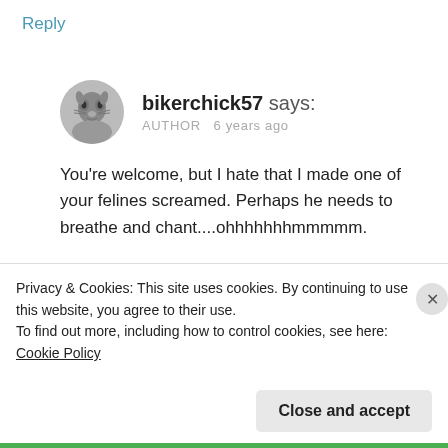Reply
bikerchick57 says: AUTHOR 6 years ago
You're welcome, but I hate that I made one of your felines screamed. Perhaps he needs to breathe and chant....ohhhhhhmmmmmm.
Reply
Privacy & Cookies: This site uses cookies. By continuing to use this website, you agree to their use.
To find out more, including how to control cookies, see here: Cookie Policy